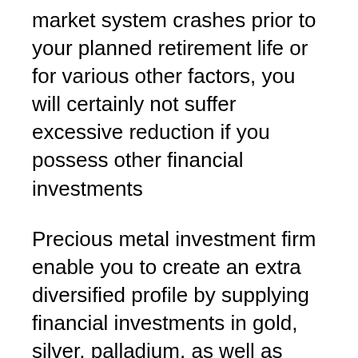market system crashes prior to your planned retirement life or for various other factors, you will certainly not suffer excessive reduction if you possess other financial investments
Precious metal investment firm enable you to create an extra diversified profile by supplying financial investments in gold, silver, palladium, as well as platinum eagle bars as well as pieces. You can easily even invest in their cryptocurrency deals. These firms deliver an exceptional chance to obtain a couple of true pubs and also coins for safe-keeping at your property, get a sizable financial investment to be kept in a depository, or set up a gold individual retirement account.